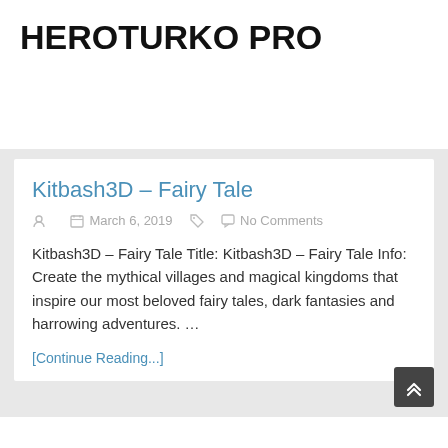HEROTURKO PRO
Kitbash3D – Fairy Tale
March 6, 2019   No Comments
Kitbash3D – Fairy Tale Title: Kitbash3D – Fairy Tale Info: Create the mythical villages and magical kingdoms that inspire our most beloved fairy tales, dark fantasies and harrowing adventures. …
[Continue Reading...]